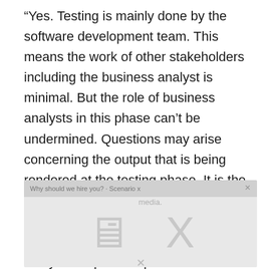“Yes. Testing is mainly done by the software development team. This means the work of other stakeholders including the business analyst is minimal. But the role of business analysts in this phase can’t be undermined. Questions may arise concerning the output that is being rendered at the testing phase. It is the business analyst who will be best suited to help get answers to such questions. During testing, business analysts help developers to match the output against the requirements.”
[Figure (other): Video or media placeholder box showing 'No compatible source was found for this media.' error message with a large X icon]